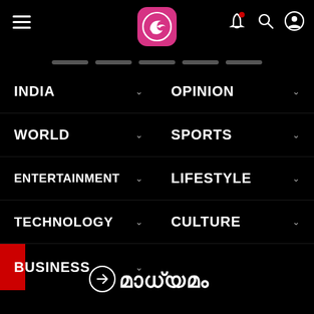[Figure (logo): News app header with hamburger menu, pink rounded square logo with kangaroo/wing icon, notification bell icon with red dot, search icon, and user profile icon on black background]
INDIA
OPINION
WORLD
SPORTS
ENTERTAINMENT
LIFESTYLE
TECHNOLOGY
CULTURE
BUSINESS
[Figure (logo): Mathrubhumi news logo in Malayalam script with arrow icon on black background at bottom of page]